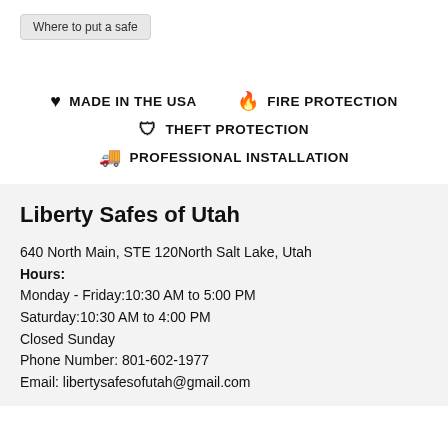Where to put a safe
MADE IN THE USA   FIRE PROTECTION   THEFT PROTECTION   PROFESSIONAL INSTALLATION
Liberty Safes of Utah
640 North Main, STE 120North Salt Lake, Utah
Hours:
Monday - Friday:10:30 AM to 5:00 PM
Saturday:10:30 AM to 4:00 PM
Closed Sunday
Phone Number: 801-602-1977
Email: libertysafesofutah@gmail.com